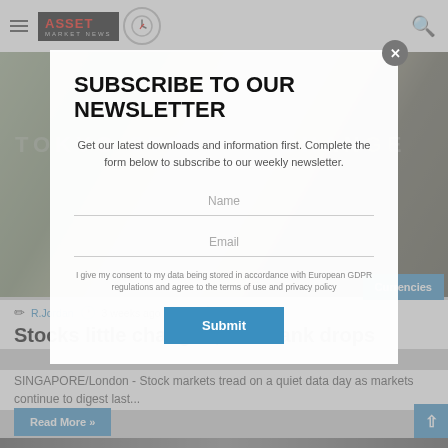ASSET MARKET NEWS
[Figure (photo): Tokyo Stock Exchange building exterior with people walking]
R.Jordan  3 weeks ago  0  7
Stocks little changed; SoftBank drops
SINGAPORE/London - Stock markets tread on a quiet data day as markets continue to digest last...
Read More »
[Figure (photo): Stock market traders on trading floor]
Currencies
SUBSCRIBE TO OUR NEWSLETTER
Get our latest downloads and information first. Complete the form below to subscribe to our weekly newsletter.
Name
Email
I give my consent to my data being stored in accordance with European GDPR regulations and agree to the terms of use and privacy policy
Submit